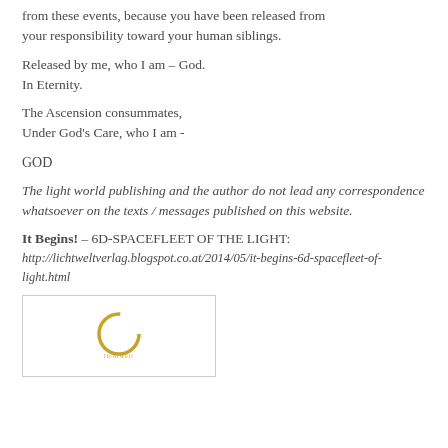from these events, because you have been released from your responsibility toward your human siblings.
Released by me, who I am – God.
In Eternity.
The Ascension consummates,
Under God's Care, who I am -
GOD
The light world publishing and the author do not lead any correspondence whatsoever on the texts / messages published on this website.
It Begins! – 6D-SPACEFLEET OF THE LIGHT:
http://lichtweltverlag.blogspot.co.at/2014/05/it-begins-6d-spacefleet-of-light.html
[Figure (logo): Circular golden omega-like logo symbol centered in a bordered rectangle box]